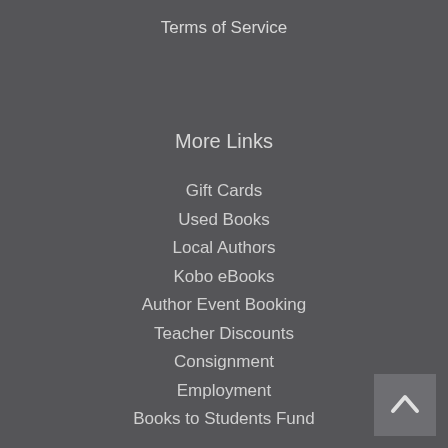Terms of Service
More Links
Gift Cards
Used Books
Local Authors
Kobo eBooks
Author Event Booking
Teacher Discounts
Consignment
Employment
Books to Students Fund
[Figure (other): Back to top button with upward chevron arrow]